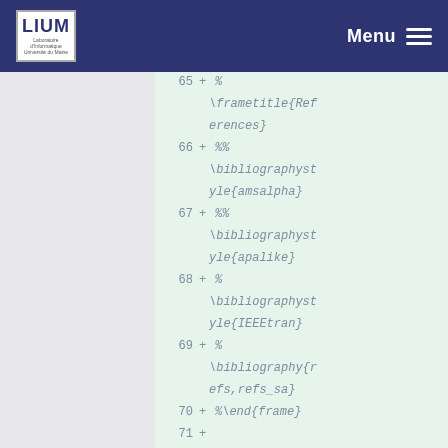LIUM | Menu
[Figure (screenshot): Code diff view showing LaTeX lines 65-74 with green background, line numbers on left, plus signs indicating additions, and monospace italic code content.]